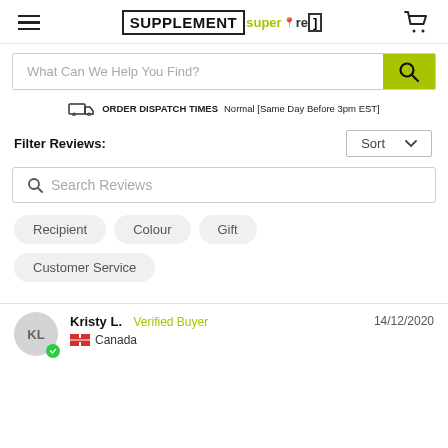[Figure (logo): Supplement Superstore logo with hamburger menu and cart icon in header]
What Can We Help You Find?
ORDER DISPATCH TIMES Normal [Same Day Before 3pm EST]
Filter Reviews:
Search Reviews
Recipient
Colour
Gift
Customer Service
Kristy L.  Verified Buyer  14/12/2020  Canada